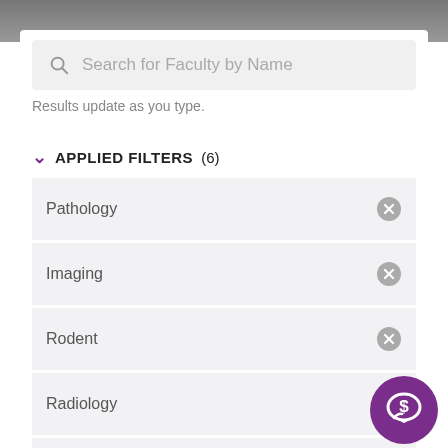[Figure (screenshot): Search bar UI with magnifying glass icon and placeholder text 'Search for Faculty by Name']
Results update as you type.
APPLIED FILTERS (6)
Pathology
Imaging
Rodent
Radiology
Genome Integrity